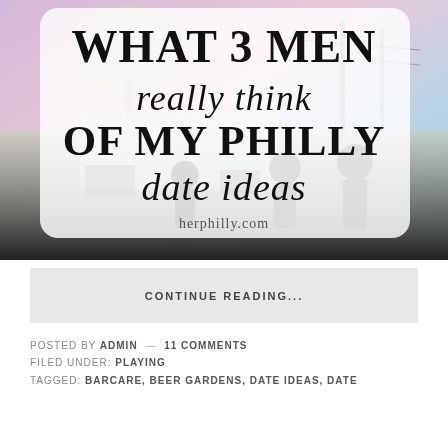[Figure (illustration): Blog post featured image with text overlay on a photo of a street/cafe scene with pastel-colored sky. Large display text reads: 'WHAT 3 MEN really think OF MY PHILLY date ideas' with 'herphilly.com' at the bottom of the overlay.]
CONTINUE READING...
POSTED BY ADMIN — 11 COMMENTS
FILED UNDER: PLAYING
TAGGED: BARCARE, BEER GARDENS, DATE IDEAS, DATE